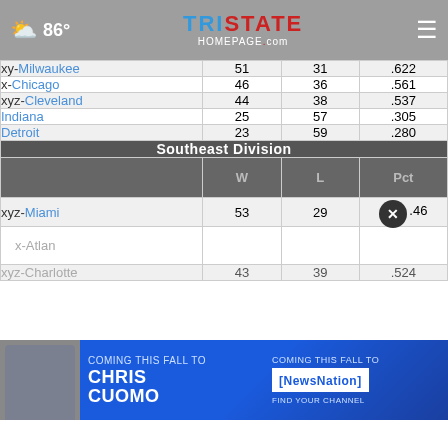86° | Tristate Homepage.com
| Team | W | L | Pct |
| --- | --- | --- | --- |
| xy-Milwaukee | 51 | 31 | .622 |
| x-Chicago | 46 | 36 | .561 |
| xyz-Cleveland | 44 | 38 | .537 |
| Indiana | 25 | 57 | .305 |
| Detroit | 23 | 59 | .280 |
Southeast Division
| Team | W | L | Pct |
| --- | --- | --- | --- |
| xyz-Miami | 53 | 29 | .646 |
| x-Atlanta |  |  |  |
| xyz-Charlotte | 43 | 39 | .524 |
[Figure (other): Advertisement banner for Chris Cuomo coming to NewsNation]